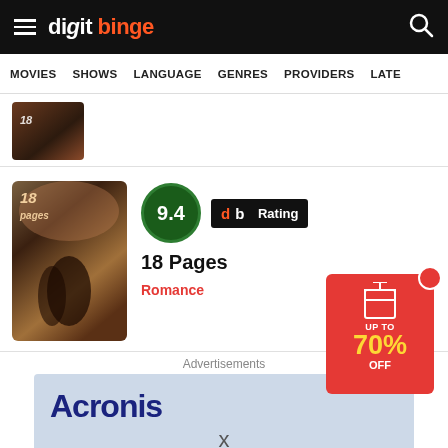digit binge
MOVIES  SHOWS  LANGUAGE  GENRES  PROVIDERS  LATE
[Figure (photo): Movie poster thumbnail at top]
9.4  db Rating
18 Pages
Romance
Advertisements
[Figure (infographic): Acronis advertisement: Acronis x Healthcare has evolved.]
[Figure (infographic): Promo box: UP TO 70% OFF sale advertisement]